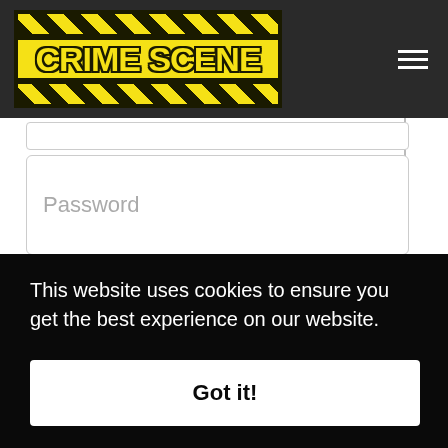[Figure (logo): Crime Scene logo with yellow and black hazard stripe border on dark navigation bar]
Password
Log in
Register
Remember me
This website uses cookies to ensure you get the best experience on our website.
Got it!